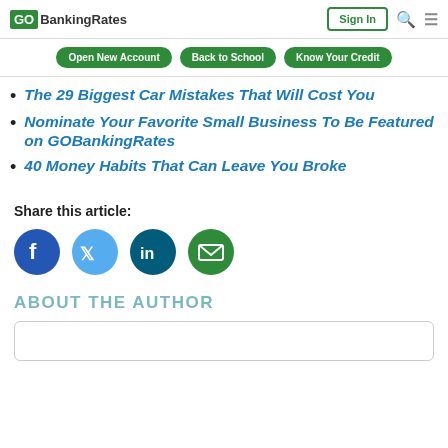GOBankingRates | Sign In
The 29 Biggest Car Mistakes That Will Cost You
Nominate Your Favorite Small Business To Be Featured on GOBankingRates
40 Money Habits That Can Leave You Broke
Share this article:
[Figure (infographic): Social share icons: Facebook, Twitter, LinkedIn, Email]
ABOUT THE AUTHOR